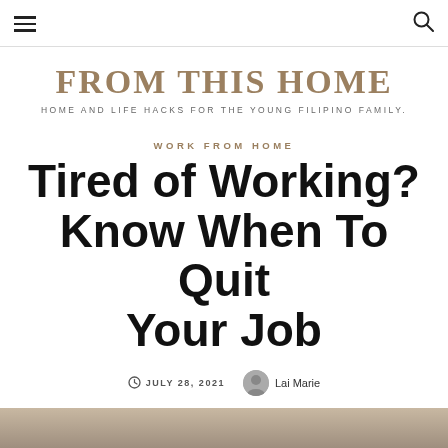FROM THIS HOME — HOME AND LIFE HACKS FOR THE YOUNG FILIPINO FAMILY.
FROM THIS HOME
HOME AND LIFE HACKS FOR THE YOUNG FILIPINO FAMILY.
WORK FROM HOME
Tired of Working? Know When To Quit Your Job
JULY 28, 2021  Lai Marie
[Figure (photo): Bottom strip showing a blurred photo, partially visible at bottom of page]